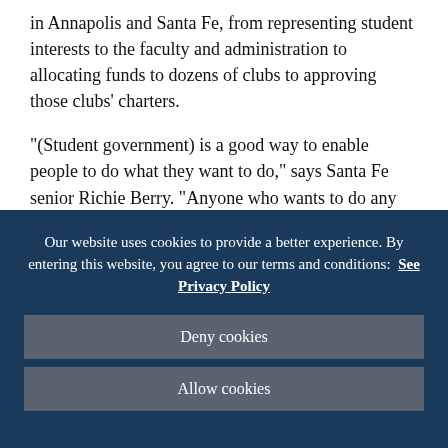in Annapolis and Santa Fe, from representing student interests to the faculty and administration to allocating funds to dozens of clubs to approving those clubs' charters.
"(Student government) is a good way to enable people to do what they want to do," says Santa Fe senior Richie Berry. "Anyone who wants to do any extracurricular thing, which is something that makes the community a lot richer … we
Our website uses cookies to provide a better experience. By entering this website, you agree to our terms and conditions:  See Privacy Policy
Deny cookies
Allow cookies